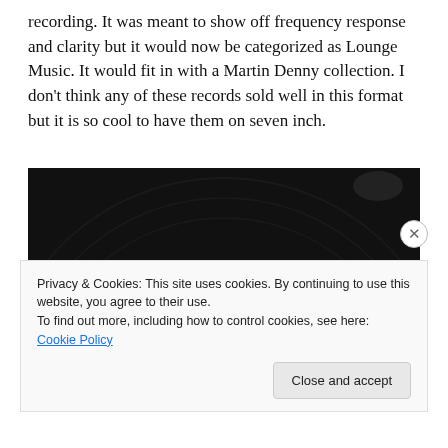recording. It was meant to show off frequency response and clarity but it would now be categorized as Lounge Music. It would fit in with a Martin Denny collection. I don't think any of these records sold well in this format but it is so cool to have them on seven inch.
[Figure (photo): Close-up photo of a vinyl record with a yellow label reading 'HIFI RECORD' in bold dark lettering on a black record surface]
Privacy & Cookies: This site uses cookies. By continuing to use this website, you agree to their use.
To find out more, including how to control cookies, see here: Cookie Policy